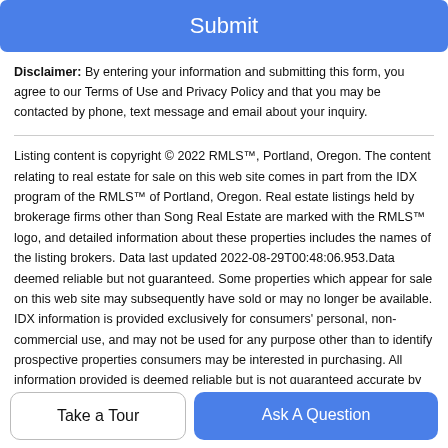Submit
Disclaimer: By entering your information and submitting this form, you agree to our Terms of Use and Privacy Policy and that you may be contacted by phone, text message and email about your inquiry.
Listing content is copyright © 2022 RMLS™, Portland, Oregon. The content relating to real estate for sale on this web site comes in part from the IDX program of the RMLS™ of Portland, Oregon. Real estate listings held by brokerage firms other than Song Real Estate are marked with the RMLS™ logo, and detailed information about these properties includes the names of the listing brokers. Data last updated 2022-08-29T00:48:06.953.Data deemed reliable but not guaranteed. Some properties which appear for sale on this web site may subsequently have sold or may no longer be available. IDX information is provided exclusively for consumers' personal, non-commercial use, and may not be used for any purpose other than to identify prospective properties consumers may be interested in purchasing. All information provided is deemed reliable but is not guaranteed accurate by RMLS™ or
Take a Tour
Ask A Question